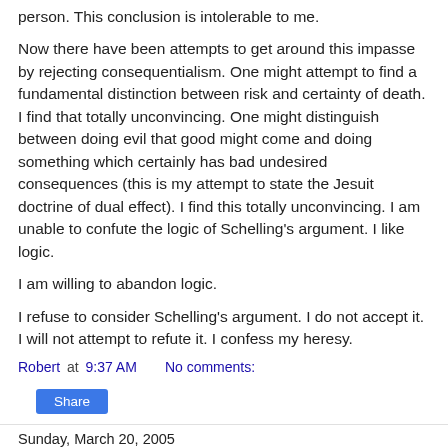person. This conclusion is intolerable to me.
Now there have been attempts to get around this impasse by rejecting consequentialism. One might attempt to find a fundamental distinction between risk and certainty of death. I find that totally unconvincing. One might distinguish between doing evil that good might come and doing something which certainly has bad undesired consequences (this is my attempt to state the Jesuit doctrine of dual effect). I find this totally unconvincing. I am unable to confute the logic of Schelling's argument. I like logic.
I am willing to abandon logic.
I refuse to consider Schelling's argument. I do not accept it. I will not attempt to refute it. I confess my heresy.
Robert at 9:37 AM    No comments:
Share
Sunday, March 20, 2005